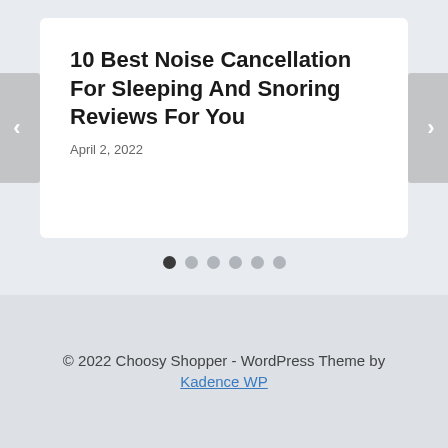10 Best Noise Cancellation For Sleeping And Snoring Reviews For You
April 2, 2022
[Figure (other): Carousel navigation dots: 6 dots with first dot active (dark), rest light gray]
© 2022 Choosy Shopper - WordPress Theme by Kadence WP